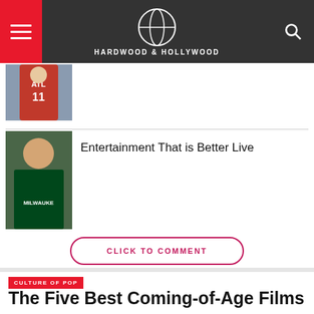Hardwood and Hollywood
[Figure (photo): Basketball player in red ATL jersey with number 11]
[Figure (photo): Basketball player in Milwaukee Bucks green jersey]
Entertainment That is Better Live
CLICK TO COMMENT
CULTURE OF POP
The Five Best Coming-of-Age Films
By Zach Bencomo